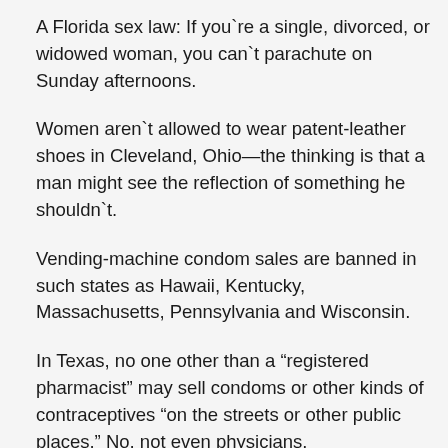A Florida sex law: If you`re a single, divorced, or widowed woman, you can`t parachute on Sunday afternoons.
Women aren`t allowed to wear patent-leather shoes in Cleveland, Ohio—the thinking is that a man might see the reflection of something he shouldn`t.
Vending-machine condom sales are banned in such states as Hawaii, Kentucky, Massachusetts, Pennsylvania and Wisconsin.
In Texas, no one other than a “registered pharmacist” may sell condoms or other kinds of contraceptives “on the streets or other public places.” No, not even physicians.